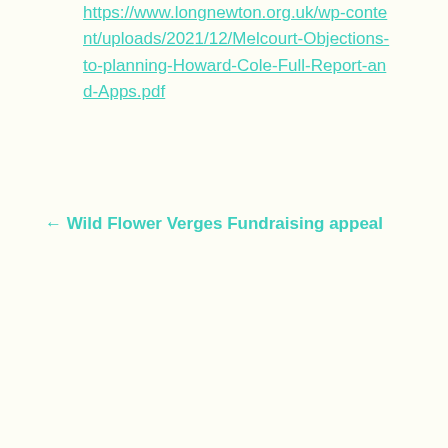https://www.longnewton.org.uk/wp-content/uploads/2021/12/Melcourt-Objections-to-planning-Howard-Cole-Full-Report-and-Apps.pdf
← Wild Flower Verges Fundraising appeal